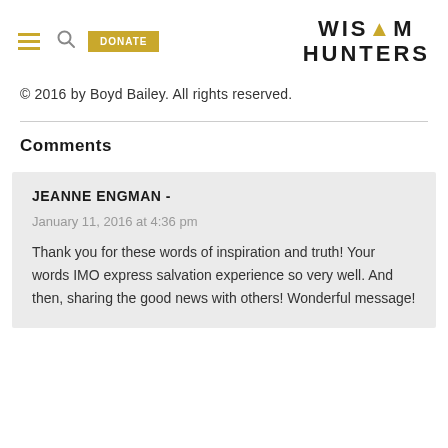WISDOM HUNTERS
© 2016 by Boyd Bailey. All rights reserved.
Comments
JEANNE ENGMAN - January 11, 2016 at 4:36 pm Thank you for these words of inspiration and truth! Your words IMO express salvation experience so very well. And then, sharing the good news with others! Wonderful message!